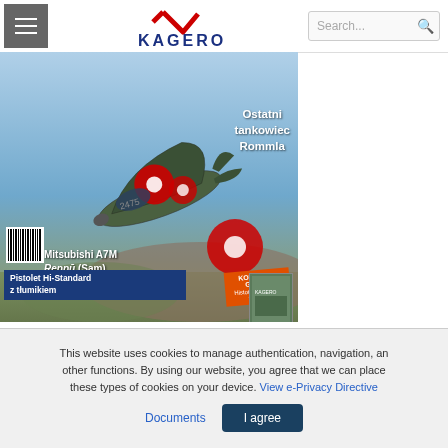[Figure (screenshot): Website navigation bar with hamburger menu, Kagero logo with checkmark, and search box]
[Figure (photo): Militaria magazine cover showing a green Japanese WWII aircraft (Mitsubishi A7M Reppu) with red circles, blue sky background, text overlays: 'Ostatni tankowiec Rommla', 'Mitsubishi A7M Reppu (Sam)', 'Pistolet Hi-Standard z tłumikiem', 'KOMANDO GRYFA', and large red MILITARIA text at bottom]
This website uses cookies to manage authentication, navigation, and other functions. By using our website, you agree that we can place these types of cookies on your device. View e-Privacy Directive Documents  I agree